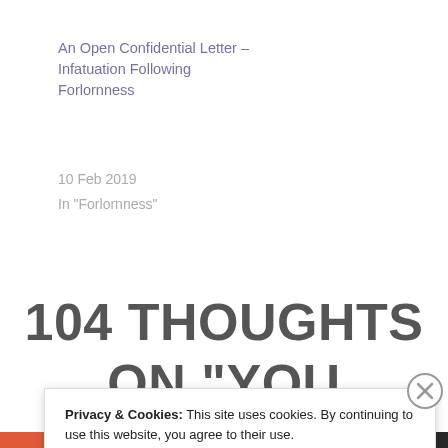An Open Confidential Letter – Infatuation Following Forlornness
10 Feb 2019
In "Forlornness"
104 THOUGHTS ON “YOU ARE MY EVERYTHING”
Privacy & Cookies: This site uses cookies. By continuing to use this website, you agree to their use.
To find out more, including how to control cookies, see here: Cookie Policy
Close and accept